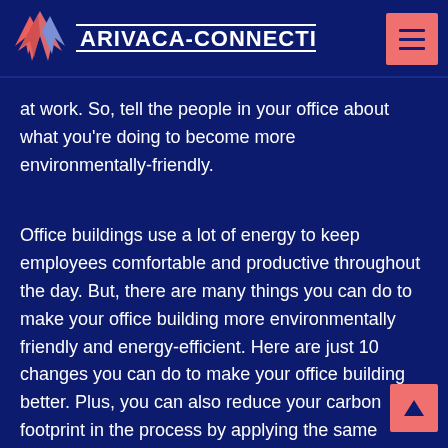ARIVACA-CONNECTION
at work. So, tell the people in your office about what you're doing to become more environmentally-friendly.
Office buildings use a lot of energy to keep employees comfortable and productive throughout the day. But, there are many things you can do to make your office building more environmentally friendly and energy-efficient. Here are just 10 changes you can do to make your office building better. Plus, you can also reduce your carbon footprint in the process by applying the same principles to your home.